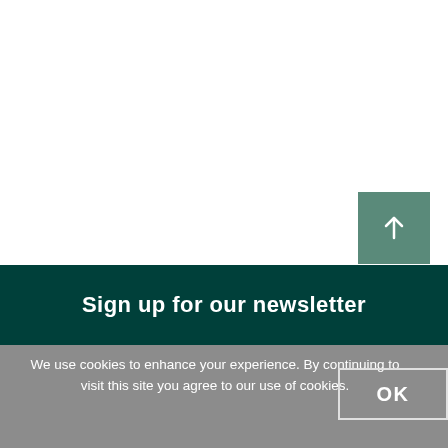[Figure (other): White background area with a teal/green square scroll-to-top button containing an upward arrow icon, positioned in the upper right area]
Sign up for our newsletter
We use cookies to enhance your experience. By continuing to visit this site you agree to our use of cookies.